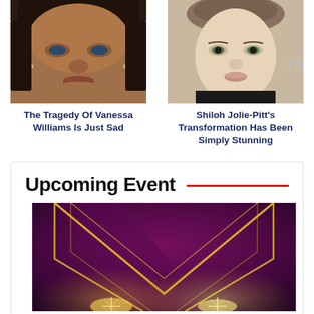[Figure (photo): Close-up photo of Vanessa Williams face]
The Tragedy Of Vanessa Williams Is Just Sad
[Figure (photo): Close-up photo of Shiloh Jolie-Pitt face]
Shiloh Jolie-Pitt's Transformation Has Been Simply Stunning
Upcoming Event
[Figure (illustration): Dark purple/magenta event banner with golden chevron/arrow design and sparkling light effects]